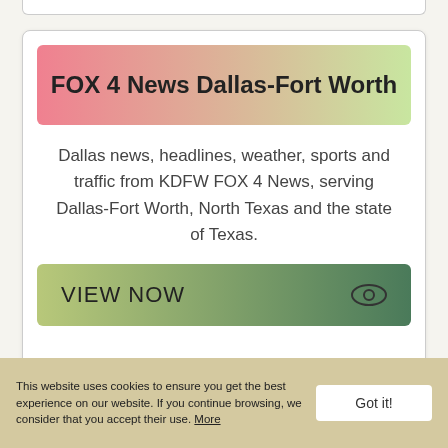FOX 4 News Dallas-Fort Worth
Dallas news, headlines, weather, sports and traffic from KDFW FOX 4 News, serving Dallas-Fort Worth, North Texas and the state of Texas.
VIEW NOW
DFW: All you need to know
This website uses cookies to ensure you get the best experience on our website. If you continue browsing, we consider that you accept their use. More